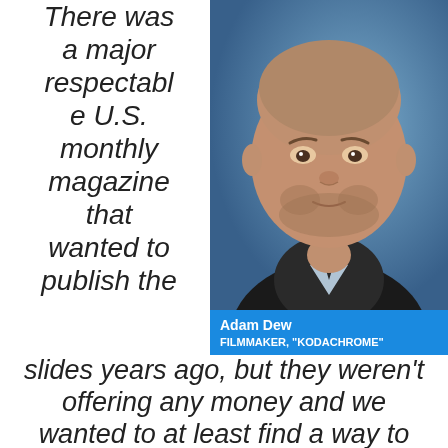There was a major respectable U.S. monthly magazine that wanted to publish the
[Figure (photo): Headshot of Adam Dew, a bald/shaved-head man with stubble beard wearing a dark zip-up jacket over a light collared shirt, with a blue studio background. A lower-third graphic reads 'Adam Dew / FILMMAKER, "KODACHROME"']
Adam Dew
FILMMAKER, "KODACHROME"
slides years ago, but they weren't offering any money and we wanted to at least find a way to bring some bit of funding into this